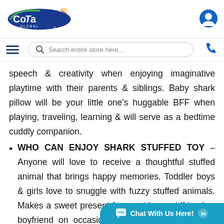[Figure (logo): CoTa Global logo with blue oval, green swoosh, orange leaf, and text]
[Figure (illustration): Blue circular user/account icon in top right corner]
[Figure (other): Navigation bar with hamburger menu, search bar reading 'Search entire store here...', and phone icon]
speech & creativity when enjoying imaginative playtime with their parents & siblings. Baby shark pillow will be your little one's huggable BFF when playing, traveling, learning & will serve as a bedtime cuddly companion.
WHO CAN ENJOY SHARK STUFFED TOY – Anyone will love to receive a thoughtful stuffed animal that brings happy memories. Toddler boys & girls love to snuggle with fuzzy stuffed animals. Makes a sweet present for a pet lover girlfriend or boyfriend on occasions like birthday, Valentine's day & Christmas. A classic baby shower gift for expecting mothers that can
[Figure (other): Teal chat button overlay at bottom right reading 'Chat With Us Here!']